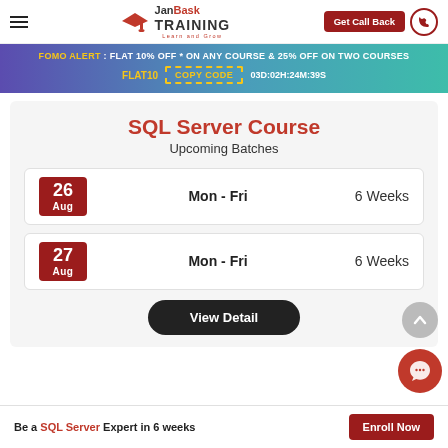JanBask TRAINING Learn and Grow | Get Call Back
FOMO ALERT : FLAT 10% OFF * ON ANY COURSE & 25% OFF ON TWO COURSES FLAT10 COPY CODE 03D:02H:24M:39S
SQL Server Course
Upcoming Batches
26 Aug | Mon - Fri | 6 Weeks
27 Aug | Mon - Fri | 6 Weeks
View Detail
Be a SQL Server Expert in 6 weeks | Enroll Now